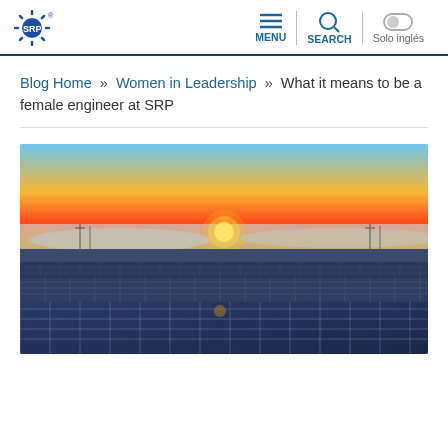SRP | MENU | SEARCH | Solo inglés
Blog Home » Women in Leadership » What it means to be a female engineer at SRP
[Figure (photo): Aerial view of a large solar panel farm at sunset, with rows of photovoltaic panels in the foreground and a glowing horizon in the background under an orange sky.]